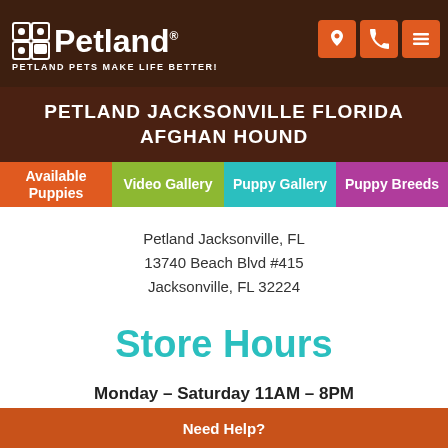[Figure (logo): Petland logo with dog icon, white text on dark brown background, tagline 'Petland Pets Make Life Better!']
[Figure (infographic): Three icon buttons: location pin, phone, and hamburger menu, all orange squares]
PETLAND JACKSONVILLE FLORIDA AFGHAN HOUND
[Figure (infographic): Navigation tabs: Available Puppies (orange), Video Gallery (green), Puppy Gallery (teal), Puppy Breeds (purple)]
Petland Jacksonville, FL
13740 Beach Blvd #415
Jacksonville, FL 32224
Store Hours
Monday – Saturday 11AM – 8PM
Sunday 11AM – 6PM
Need Help?